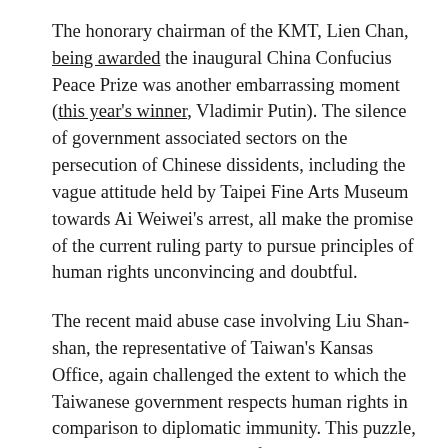The honorary chairman of the KMT, Lien Chan, being awarded the inaugural China Confucius Peace Prize was another embarrassing moment (this year's winner, Vladimir Putin). The silence of government associated sectors on the persecution of Chinese dissidents, including the vague attitude held by Taipei Fine Arts Museum towards Ai Weiwei's arrest, all make the promise of the current ruling party to pursue principles of human rights unconvincing and doubtful.
The recent maid abuse case involving Liu Shan-shan, the representative of Taiwan's Kansas Office, again challenged the extent to which the Taiwanese government respects human rights in comparison to diplomatic immunity. This puzzle, however, does not only confront the KMT government, but the entire Taiwanese society. There are too many topics that are seldom discussed and underplayed not only by the